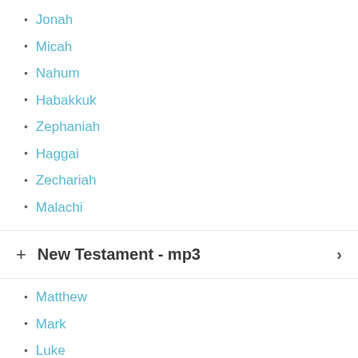Jonah
Micah
Nahum
Habakkuk
Zephaniah
Haggai
Zechariah
Malachi
+ New Testament - mp3
Matthew
Mark
Luke
John